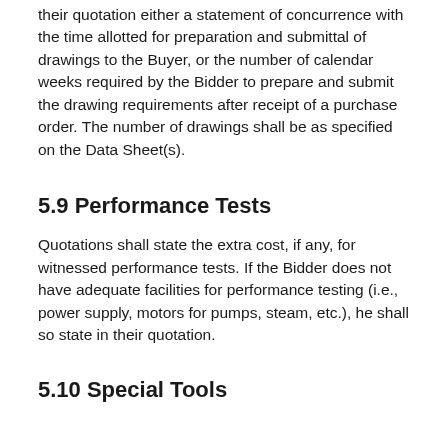their quotation either a statement of concurrence with the time allotted for preparation and submittal of drawings to the Buyer, or the number of calendar weeks required by the Bidder to prepare and submit the drawing requirements after receipt of a purchase order. The number of drawings shall be as specified on the Data Sheet(s).
5.9 Performance Tests
Quotations shall state the extra cost, if any, for witnessed performance tests. If the Bidder does not have adequate facilities for performance testing (i.e., power supply, motors for pumps, steam, etc.), he shall so state in their quotation.
5.10 Special Tools